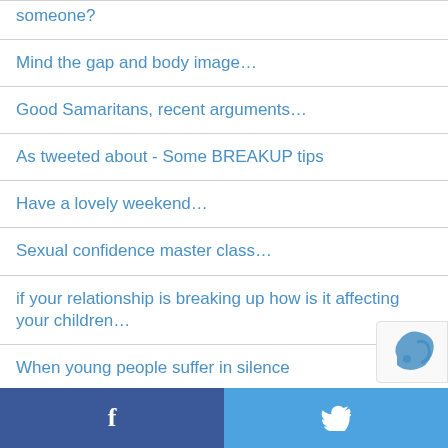someone?
Mind the gap and body image…
Good Samaritans, recent arguments…
As tweeted about - Some BREAKUP tips
Have a lovely weekend…
Sexual confidence master class…
if your relationship is breaking up how is it affecting your children…
When young people suffer in silence
Embarking on an affair?
f  🐦